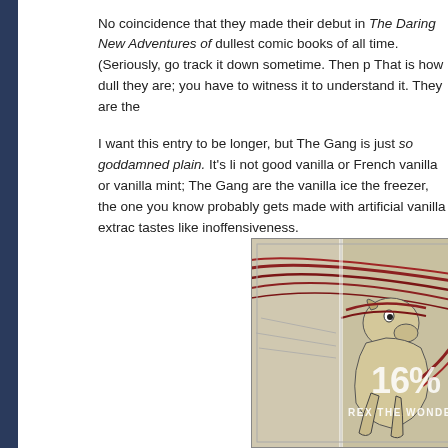No coincidence that they made their debut in The Daring New Adventures of dullest comic books of all time. (Seriously, go track it down sometime. Then p That is how dull they are; you have to witness it to understand it. They are the
I want this entry to be longer, but The Gang is just so goddamned plain. It's li not good vanilla or French vanilla or vanilla mint; The Gang are the vanilla ice the freezer, the one you know probably gets made with artificial vanilla extrac tastes like inoffensiveness.
[Figure (illustration): Comic book cover or panel showing Rex the Wonder Dog character with dynamic red swooping lines and illustrated dog figure. Overlay text reads '16% REX THE WONDER DOG' in white.]